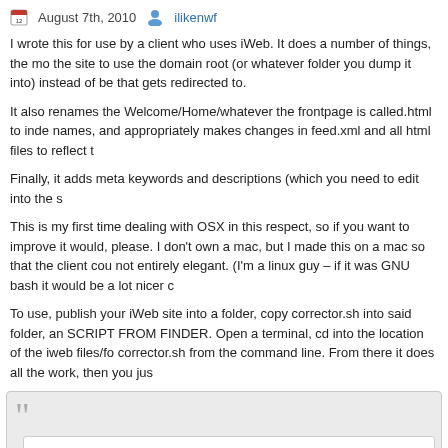August 7th, 2010   ilikenwf
I wrote this for use by a client who uses iWeb. It does a number of things, the most important being making the site to use the domain root (or whatever folder you dump it into) instead of being in a subfolder that gets redirected to.
It also renames the Welcome/Home/whatever the frontpage is called.html to index.html, fixes up internal names, and appropriately makes changes in feed.xml and all html files to reflect the new names.
Finally, it adds meta keywords and descriptions (which you need to edit into the script).
This is my first time dealing with OSX in this respect, so if you want to improve it please feel free to, I would, please. I don't own a mac, but I made this on a mac so that the client could run it. The code is not entirely elegant. (I'm a linux guy – if it was GNU bash it would be a lot nicer code)
To use, publish your iWeb site into a folder, copy corrector.sh into said folder, and DON'T RUN THE SCRIPT FROM FINDER. Open a terminal, cd into the location of the iweb files/folder, and run corrector.sh from the command line. From there it does all the work, then you just upload.
[Figure (screenshot): Code block showing shell script beginning with #!/bin/sh and echo commands for iWeb corrector]
#!/bin/sh

echo "iWeb corrector - put the site in the do..."
echo "Fully free and opensource software by i..."
echo "http://www.ilikenwf.com"
echo "FOR USE ON THE OSX O/S ONLY!"